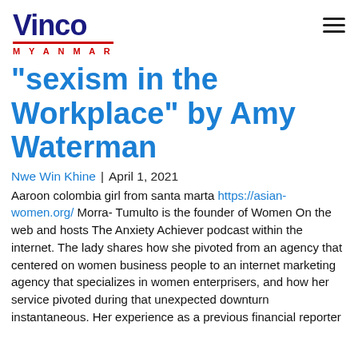[Figure (logo): Vinco Myanmar logo with bold dark blue 'Vinco' text, red underline, and red 'MYANMAR' text in spaced capitals]
“sexism in the Workplace” by Amy Waterman
Nwe Win Khine | April 1, 2021
Aaroon colombia girl from santa marta https://asian-women.org/ Morra- Tumulto is the founder of Women On the web and hosts The Anxiety Achiever podcast within the internet. The lady shares how she pivoted from an agency that centered on women business people to an internet marketing agency that specializes in women enterprisers, and how her service pivoted during that unexpected downturn instantaneous. Her experience as a previous financial reporter